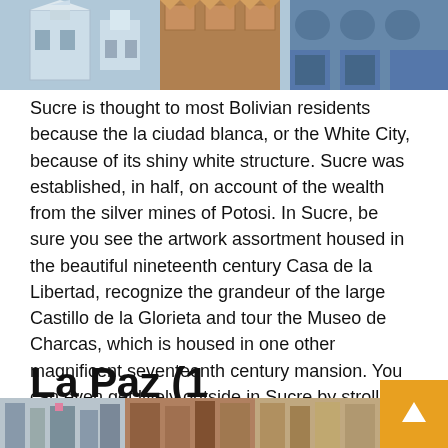[Figure (photo): Top image showing white geometric architecture on the left and a blue/colonial building on the right, likely in Sucre, Bolivia]
Sucre is thought to most Bolivian residents because the la ciudad blanca, or the White City, because of its shiny white structure. Sucre was established, in half, on account of the wealth from the silver mines of Potosi. In Sucre, be sure you see the artwork assortment housed in the beautiful nineteenth century Casa de la Libertad, recognize the grandeur of the large Castillo de la Glorieta and tour the Museo de Charcas, which is housed in one other magnificent seventeenth century mansion. You can even get lively outside in Sucre by strolling by means of the scenic Parque Bolivar or mountaineering to the Seven Cascadas, or waterfalls, which might be situated simply outdoors of the town.
La Paz (1 evening)
[Figure (photo): Bottom strip showing street scenes from La Paz, Bolivia]